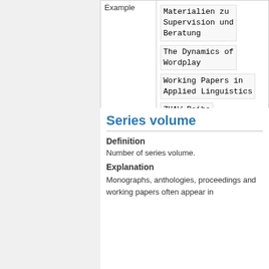| Example | Materialien zu Supervision und Beratung
The Dynamics of Wordplay
Working Papers in Applied Linguistics
ZHAW Reihe Gesundheit |
Series volume
Definition
Number of series volume.
Explanation
Monographs, anthologies, proceedings and working papers often appear in